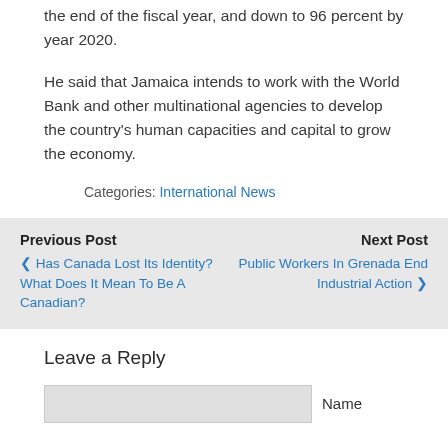the end of the fiscal year, and down to 96 percent by year 2020.
He said that Jamaica intends to work with the World Bank and other multinational agencies to develop the country's human capacities and capital to grow the economy.
Categories: International News
Previous Post
‹ Has Canada Lost Its Identity? What Does It Mean To Be A Canadian?
Next Post
Public Workers In Grenada End Industrial Action ›
Leave a Reply
Name